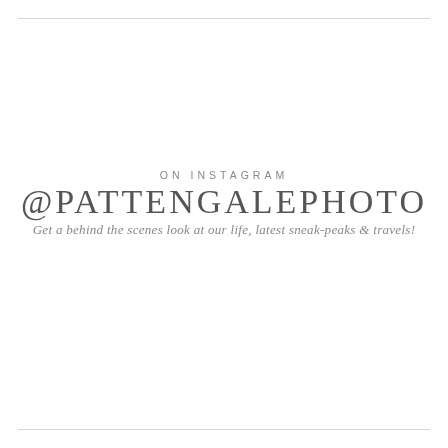ON INSTAGRAM
@PATTENGALEPHOTO
Get a behind the scenes look at our life, latest sneak-peaks & travels!